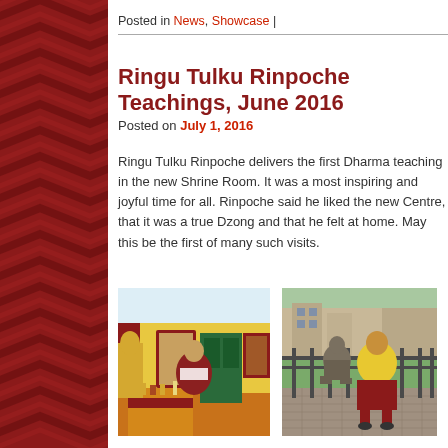Posted in News, Showcase |
Ringu Tulku Rinpoche Teachings, June 2016
Posted on July 1, 2016
Ringu Tulku Rinpoche delivers the first Dharma teaching in the new Shrine Room. It was a most inspiring and joyful time for all. Rinpoche said he liked the new Centre, that it was a true Dzong and that he felt at home. May this be the first of many such visits.
[Figure (photo): A robed monk or lama seated and speaking inside a shrine room with yellow walls, red columns, a green door, and altar decorations including a golden Buddha statue.]
[Figure (photo): A person wearing a yellow puffer jacket and red skirt sitting on a bench next to a bronze seated statue outdoors.]